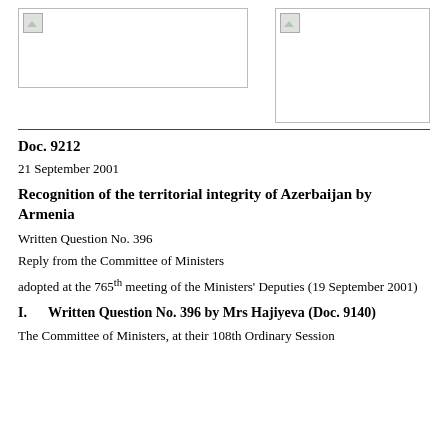[Figure (logo): Left logo placeholder with broken image icon]
[Figure (logo): Right logo placeholder with broken image icon]
Doc. 9212
21 September 2001
Recognition of the territorial integrity of Azerbaijan by Armenia
Written Question No. 396
Reply from the Committee of Ministers
adopted at the 765th meeting of the Ministers' Deputies (19 September 2001)
I.      Written Question No. 396 by Mrs Hajiyeva (Doc. 9140)
The Committee of Ministers, at their 108th Ordinary Session